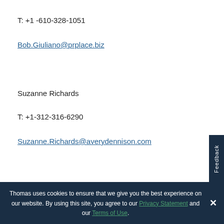T: +1 -610-328-1051
Bob.Giuliano@prplace.biz
Suzanne Richards
T: +1-312-316-6290
Suzanne.Richards@averydennison.com
Thomas uses cookies to ensure that we give you the best experience on our website. By using this site, you agree to our Privacy Statement and our Terms of Use.